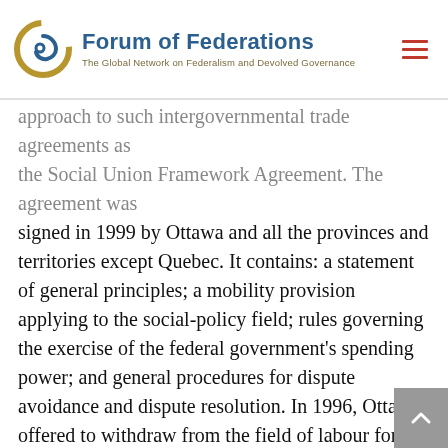Forum of Federations — The Global Network on Federalism and Devolved Governance
signed in 1999 by Ottawa and all the provinces and territories except Quebec. It contains: a statement of general principles; a mobility provision applying to the social-policy field; rules governing the exercise of the federal government's spending power; and general procedures for dispute avoidance and dispute resolution. In 1996, Ottawa offered to withdraw from the field of labour force training. Provinces were offered responsibility for a wide range of 'active labour market' programs, along with the associated funding, and could choose between a co-management model or complete devolution. Five provinces opted for co-management, while four chose full devolution. In the case of this policy field, it is Ontario that is the odd province out, refusing to reach an agreement until the question of the fair distribution of federal money is